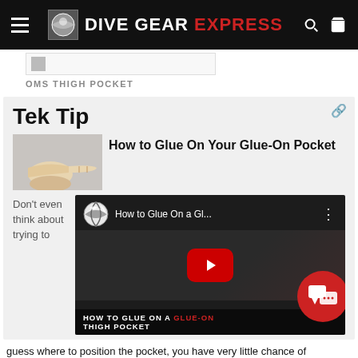DIVE GEAR EXPRESS
[Figure (screenshot): Partial product thumbnail image for OMS Thigh Pocket]
OMS THIGH POCKET
Tek Tip
[Figure (illustration): Hand pointing right illustration]
How to Glue On Your Glue-On Pocket
Don't even think about trying to
[Figure (screenshot): YouTube video thumbnail: How to Glue On a Gl... HOW TO GLUE ON A GLUE-ON THIGH POCKET]
guess where to position the pocket, you have very little chance of